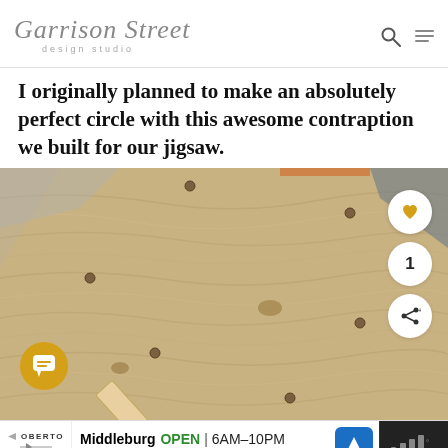Garrison Street design studio
I originally planned to make an absolutely perfect circle with this awesome contraption we built for our jigsaw.
[Figure (photo): Close-up photo of plywood sheet with a wooden jig/compass arm laid diagonally across it, and screws visible in the wood. The wood grain is clearly visible with a warm light-tan color.]
Middleburg OPEN | 6AM–10PM  12 West Washington Street, Middl...